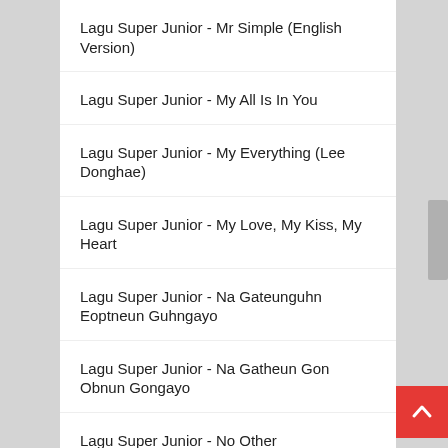Lagu Super Junior - Mr Simple (English Version)
Lagu Super Junior - My All Is In You
Lagu Super Junior - My Everything (Lee Donghae)
Lagu Super Junior - My Love, My Kiss, My Heart
Lagu Super Junior - Na Gateunguhn Eoptneun Guhngayo
Lagu Super Junior - Na Gatheun Gon Obnun Gongayo
Lagu Super Junior - No Other
Lagu Super Junior - No Other (English Version)